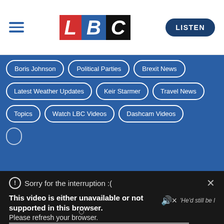[Figure (logo): LBC radio logo with red L, blue B, black C blocks]
LISTEN
Boris Johnson
Political Parties
Brexit News
Latest Weather Updates
Keir Starmer
Travel News
Topics
Watch LBC Videos
Dashcam Videos
Sorry for the interruption :(
This video is either unavailable or not supported in this browser. Please refresh your browser.
Error Code: MEDIA ERR SRC NOT SUPPORTED